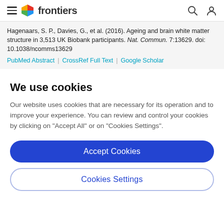frontiers (navigation bar with hamburger menu, logo, search and user icons)
Hagenaars, S. P., Davies, G., et al. (2016). Ageing and brain white matter structure in 3,513 UK Biobank participants. Nat. Commun. 7:13629. doi: 10.1038/ncomms13629
PubMed Abstract | CrossRef Full Text | Google Scholar
We use cookies
Our website uses cookies that are necessary for its operation and to improve your experience. You can review and control your cookies by clicking on "Accept All" or on "Cookies Settings".
Accept Cookies
Cookies Settings